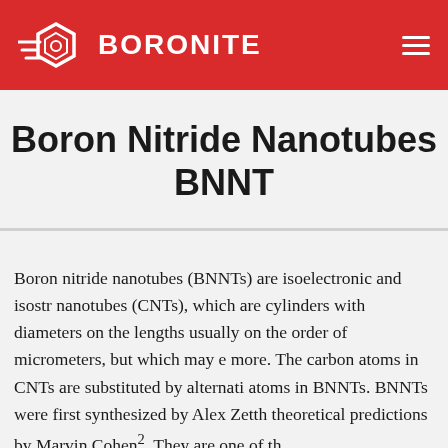BORONITE
Boron Nitride Nanotubes BNNT
Boron nitride nanotubes (BNNTs) are isoelectronic and isostr- nanotubes (CNTs), which are cylinders with diameters on the lengths usually on the order of micrometers, but which may e more. The carbon atoms in CNTs are substituted by alternati atoms in BNNTs. BNNTs were first synthesized by Alex Zetth theoretical predictions by Marvin Cohen². They are one of th